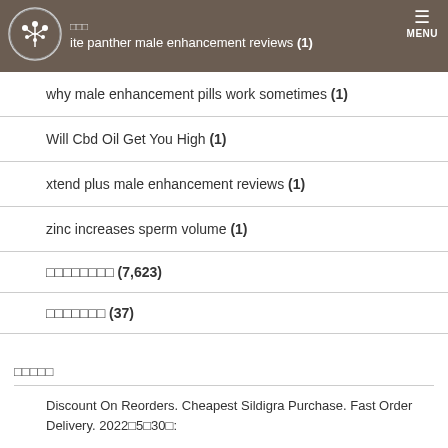白 白白 white panther male enhancement reviews (1) MENU
why male enhancement pills work sometimes (1)
Will Cbd Oil Get You High (1)
xtend plus male enhancement reviews (1)
zinc increases sperm volume (1)
□□□□□□□□ (7,623)
□□□□□□□ (37)
□□□□□
Discount On Reorders. Cheapest Sildigra Purchase. Fast Order Delivery. 2022□5□30□: